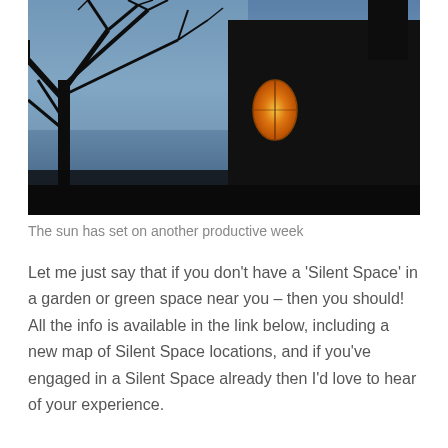[Figure (photo): A dark silhouette of a church or stone building with bare winter tree branches against a twilight blue sky. An oval stained glass window glows warm amber/orange from within the building.]
The sun has set on another productive week
Let me just say that if you don't have a 'Silent Space' in a garden or green space near you – then you should! All the info is available in the link below, including a new map of Silent Space locations, and if you've engaged in a Silent Space already then I'd love to hear of your experience.